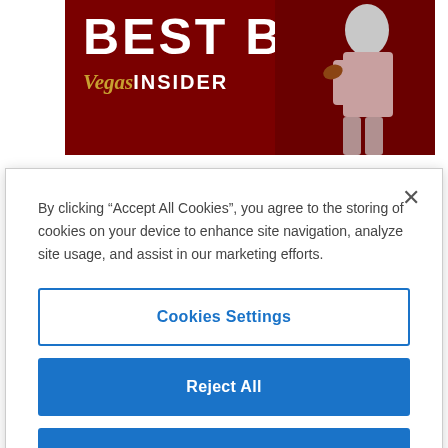[Figure (photo): Vegas Insider 'BEST BETS' advertisement banner with a football player in a red uniform on a dark red background, with the Vegas Insider logo]
Daily Newsletter
Sign up to get daily betting columns and advice delivered
By clicking “Accept All Cookies”, you agree to the storing of cookies on your device to enhance site navigation, analyze site usage, and assist in our marketing efforts.
Cookies Settings
Reject All
Accept All Cookies